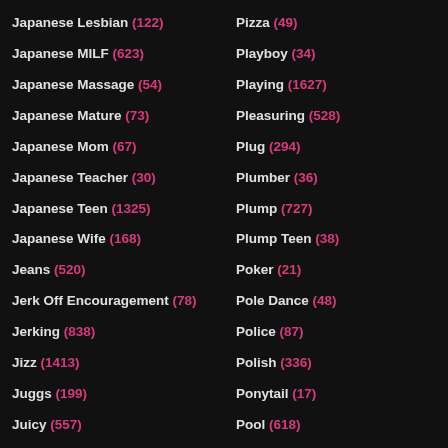Japanese Lesbian (122)
Japanese MILF (623)
Japanese Massage (54)
Japanese Mature (73)
Japanese Mom (67)
Japanese Teacher (30)
Japanese Teen (1325)
Japanese Wife (168)
Jeans (520)
Jerk Off Encouragement (78)
Jerking (838)
Jizz (1413)
Juggs (199)
Juicy (557)
Jungle (30)
Kinky (760)
Pizza (49)
Playboy (34)
Playing (1627)
Pleasuring (528)
Plug (294)
Plumber (36)
Plump (727)
Plump Teen (38)
Poker (21)
Pole Dance (48)
Police (87)
Polish (336)
Ponytail (17)
Pool (618)
Poor Girl (5)
Pornstar (8094)